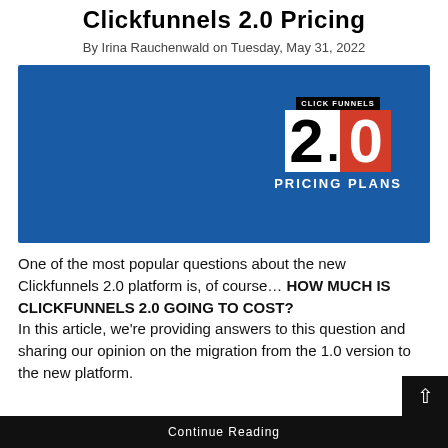Clickfunnels 2.0 Pricing
By Irina Rauchenwald on Tuesday, May 31, 2022
[Figure (illustration): Blue banner image with ClickFunnels 2.0 logo showing the number 2.0 in large text with '2' on white background and '0' on red background, 'CLICK FUNNELS' label above, and 'PRICING PLANS' text below in white on blue background.]
One of the most popular questions about the new Clickfunnels 2.0 platform is, of course… HOW MUCH IS CLICKFUNNELS 2.0 GOING TO COST?
In this article, we're providing answers to this question and sharing our opinion on the migration from the 1.0 version to the new platform.
Continue Reading